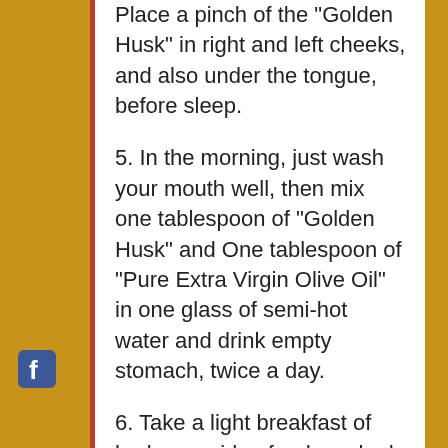Place a pinch of the "Golden Husk" in right and left cheeks, and also under the tongue, before sleep.
5. In the morning, just wash your mouth well, then mix one tablespoon of “Golden Husk” and One tablespoon of “Pure Extra Virgin Olive Oil” in one glass of semi-hot water and drink empty stomach, twice a day.
6. Take a light breakfast of barley porridge food, cooked in steam with black chilly powder.
7. In summer season, consume twice a day pain of 2...